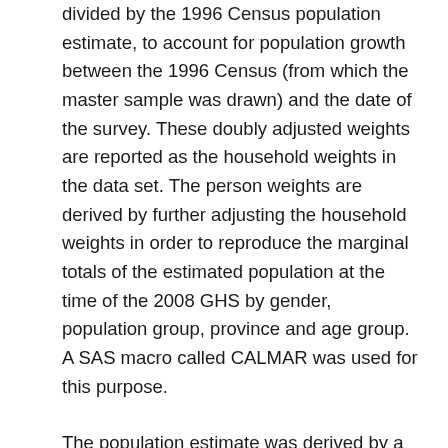divided by the 1996 Census population estimate, to account for population growth between the 1996 Census (from which the master sample was drawn) and the date of the survey. These doubly adjusted weights are reported as the household weights in the data set. The person weights are derived by further adjusting the household weights in order to reproduce the marginal totals of the estimated population at the time of the 2008 GHS by gender, population group, province and age group. A SAS macro called CALMAR was used for this purpose.
The population estimate was derived by a 'bottom up' (cohort-by-cohort) exponential extrapolation from the 1996 and 2001 censuses. Such an estimate is quite reliable for the total population and the gender, population group and provincial